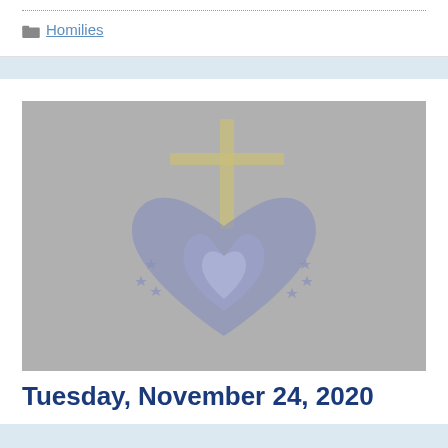Homilies
[Figure (illustration): Religious illustration showing a heart with a flame/dove symbol inside, with a cross above it and decorative leaves/stars, rendered in muted blue-gray tones on a gray background. Appears to be a church logo or emblem.]
Tuesday, November 24, 2020